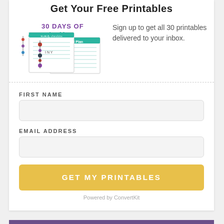Get Your Free Printables
[Figure (illustration): 30 Days of Free Printables promotional image showing colorful printable sheets including a meal plan and weekly checklist]
Sign up to get all 30 printables delivered to your inbox.
FIRST NAME
EMAIL ADDRESS
GET MY PRINTABLES
Powered by ConvertKit